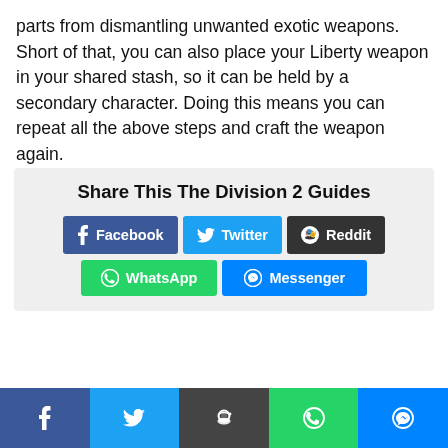parts from dismantling unwanted exotic weapons. Short of that, you can also place your Liberty weapon in your shared stash, so it can be held by a secondary character. Doing this means you can repeat all the above steps and craft the weapon again.
Share This The Division 2 Guides
Facebook  Twitter  Reddit  WhatsApp  Messenger
The Division 2
Facebook  Twitter  Reddit  WhatsApp  Messenger